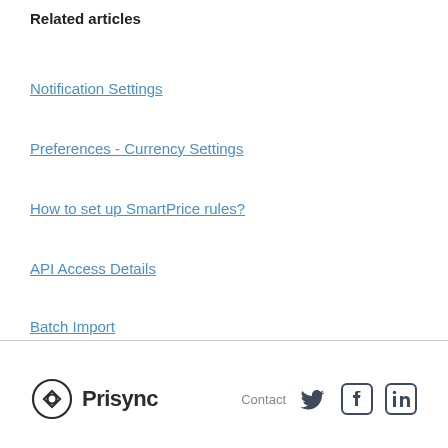Related articles
Notification Settings
Preferences - Currency Settings
How to set up SmartPrice rules?
API Access Details
Batch Import
Prisync  Contact [Twitter] [Facebook] [LinkedIn]